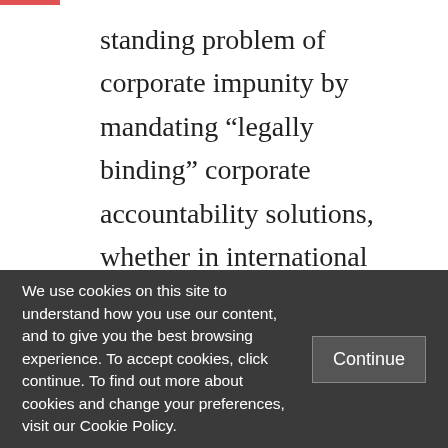standing problem of corporate impunity by mandating “legally binding” corporate accountability solutions, whether in international or domestic courts, including through transnational civil litigation. As the UNGPs are seen to have failed to deliver binding legal corporate accountability, they are considered inadequate – and it is this failure that underlies the push for a “binding”
We use cookies on this site to understand how you use our content, and to give you the best browsing experience. To accept cookies, click continue. To find out more about cookies and change your preferences, visit our Cookie Policy.